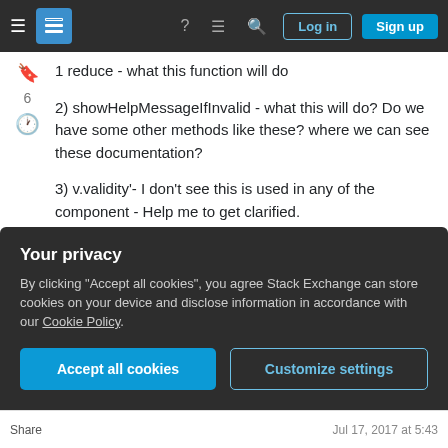Stack Exchange navigation bar with Log in and Sign up buttons
1 reduce - what this function will do
2) showHelpMessageIfInvalid - what this will do? Do we have some other methods like these? where we can see these documentation?
3) v.validity'- I don't see this is used in any of the component - Help me to get clarified.
// Show error messages if required fields a
    var allValid = component.find('contactF
    inputCmp) {
Your privacy
By clicking "Accept all cookies", you agree Stack Exchange can store cookies on your device and disclose information in accordance with our Cookie Policy.
Share